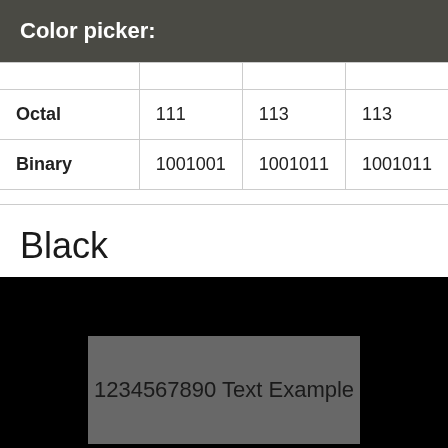Color picker:
| Octal | 111 | 113 | 113 |
| Binary | 1001001 | 1001011 | 1001011 |
Black
[Figure (illustration): Black background color preview box with a gray inner rectangle containing the text '1234567890 Text Example']